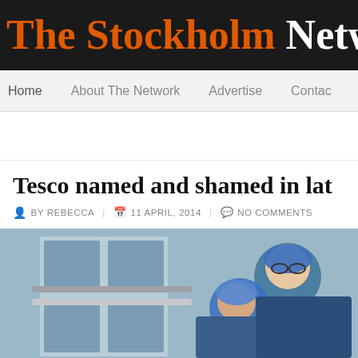The Stockholm Netw
Home | About The Network | Advertise | Contac
Tesco named and shamed in lat
BY REBECCA | 11 APRIL, 2014 | NO COMMENTS
[Figure (photo): Two people wearing blue hairnets and goggles in what appears to be a food processing or laboratory environment]